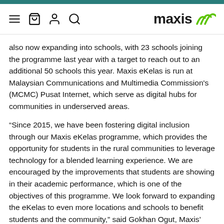maxis — navigation bar with menu, cart, account, search icons and Maxis logo
also now expanding into schools, with 23 schools joining the programme last year with a target to reach out to an additional 50 schools this year. Maxis eKelas is run at Malaysian Communications and Multimedia Commission's (MCMC) Pusat Internet, which serve as digital hubs for communities in underserved areas.
“Since 2015, we have been fostering digital inclusion through our Maxis eKelas programme, which provides the opportunity for students in the rural communities to leverage technology for a blended learning experience. We are encouraged by the improvements that students are showing in their academic performance, which is one of the objectives of this programme. We look forward to expanding the eKelas to even more locations and schools to benefit students and the community,” said Gokhan Ogut, Maxis’ Chief Executive Officer.